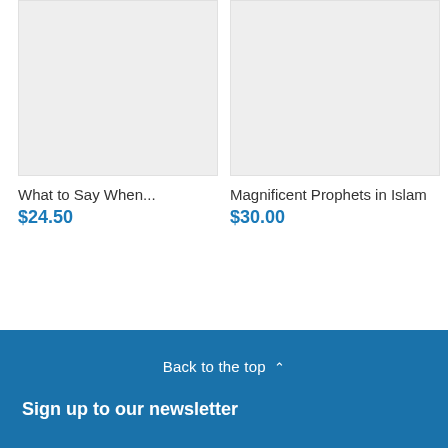[Figure (photo): Product image placeholder for What to Say When... - light grey rectangle]
What to Say When...
$24.50
[Figure (photo): Product image placeholder for Magnificent Prophets in Islam - light grey rectangle]
Magnificent Prophets in Islam
$30.00
Back to the top ^
Sign up to our newsletter